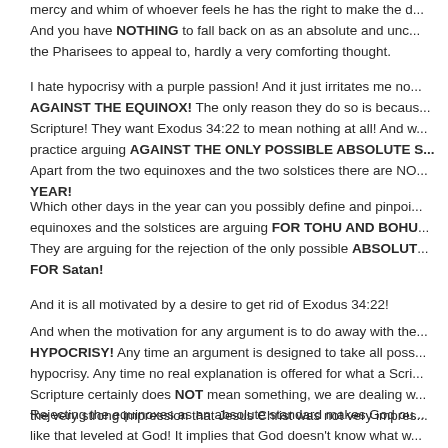mercy and whim of whoever feels he has the right to make the d... And you have NOTHING to fall back on as an absolute and unc... the Pharisees to appeal to, hardly a very comforting thought.
I hate hypocrisy with a purple passion! And it just irritates me no... AGAINST THE EQUINOX! The only reason they do so is becaus... Scripture! They want Exodus 34:22 to mean nothing at all! And w... practice arguing AGAINST THE ONLY POSSIBLE ABSOLUTE S... Apart from the two equinoxes and the two solstices there are NO... YEAR!
Which other days in the year can you possibly define and pinpoi... equinoxes and the solstices are arguing FOR TOHU AND BOHU... They are arguing for the rejection of the only possible ABSOLUT... FOR Satan!
And it is all motivated by a desire to get rid of Exodus 34:22!
And when the motivation for any argument is to do away with the... HYPOCRISY! Any time an argument is designed to take all poss... hypocrisy. Any time no real explanation is offered for what a Scri... Scripture certainly does NOT mean something, we are dealing w... the very strong impression that Jesus Christ was not very impres...
Rejecting the equinoxes as an absolute standard makes God ou... like that leveled at God! It implies that God doesn't know what w... reference to the equinoxes and the solstices you have no start a...